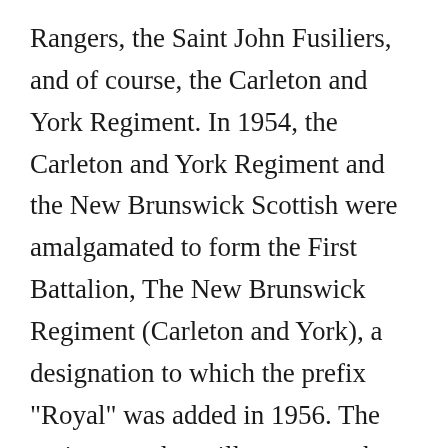Rangers, the Saint John Fusiliers, and of course, the Carleton and York Regiment. In 1954, the Carleton and York Regiment and the New Brunswick Scottish were amalgamated to form the First Battalion, The New Brunswick Regiment (Carleton and York), a designation to which the prefix "Royal" was added in 1956. The regiment today still preserves the ideals of the colonial citizen-soldier and is the product of 250 years of re-organizations, re-designations, wars, alarms, hard work, bravery and loyalty. It is the focus of the affections of all those that served in it, it is a repository of tradition